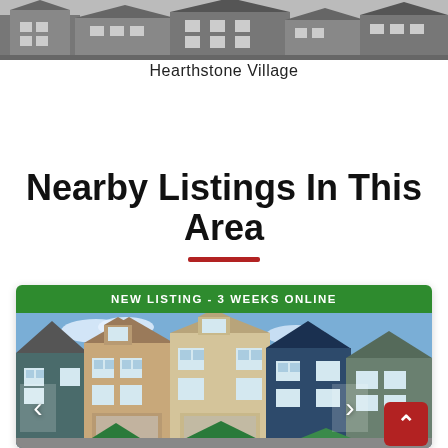[Figure (photo): Black and white photo of Hearthstone Village townhomes/houses exterior]
Hearthstone Village
Nearby Listings In This Area
[Figure (photo): Real estate listing card showing colorful townhomes/houses with green banner reading NEW LISTING - 3 WEEKS ONLINE, with navigation arrows and scroll-to-top red button]